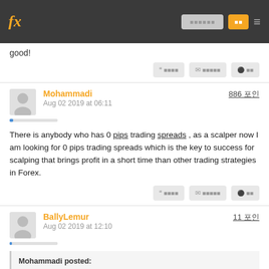fx [navigation buttons]
good!
Mohammadi | Aug 02 2019 at 06:11 | 886 포인트
There is anybody who has 0 pips trading spreads , as a scalper now I am looking for 0 pips trading spreads which is the key to success for scalping that brings profit in a short time than other trading strategies in Forex.
BallyLemur | Aug 02 2019 at 12:10 | 11 포인트
Mohammadi posted:
There is anybody who has 0 pips trading spreads , as a scalper now I am looking for 0 pips trading spreads which is the key to success for scalping that brings profit in a short time than other trading strategies in Forex.